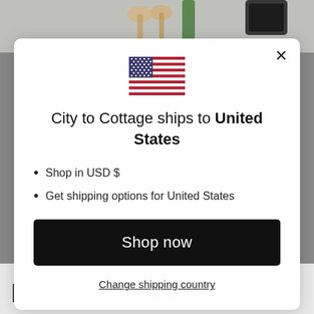[Figure (photo): Background photo of wooden spoons and green kitchen items on a surface, partially visible at the top of the page]
[Figure (illustration): US flag icon displayed in the modal dialog]
City to Cottage ships to United States
Shop in USD $
Get shipping options for United States
Shop now
Change shipping country
Painted Small